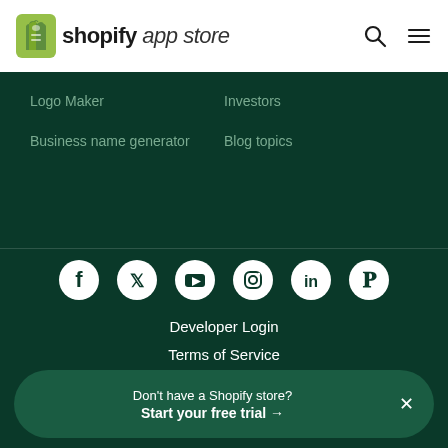Shopify App Store
Logo Maker
Business name generator
Investors
Blog topics
[Figure (infographic): Social media icons row: Facebook, Twitter, YouTube, Instagram, LinkedIn, Pinterest — white icons on dark green background]
Developer Login
Terms of Service
Privacy Policy
Don't have a Shopify store? Start your free trial →